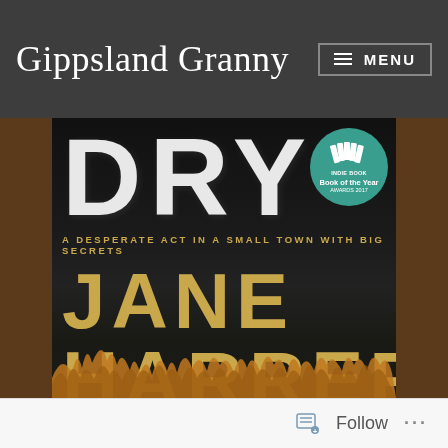Gippsland Granny ≡ MENU
[Figure (photo): Photograph of the book 'Dry' by Jane Harper lying on a wooden table. The book cover is black with large white text reading 'DRY', a teal award sticker reading 'Book of the Year', subtitle 'A DESPERATE ACT IN A SMALL TOWN WITH BIG SECRETS', and the author name 'JANE HARPER' in gold lettering. The bottom of the cover shows silhouettes of dry grass.]
Follow ...